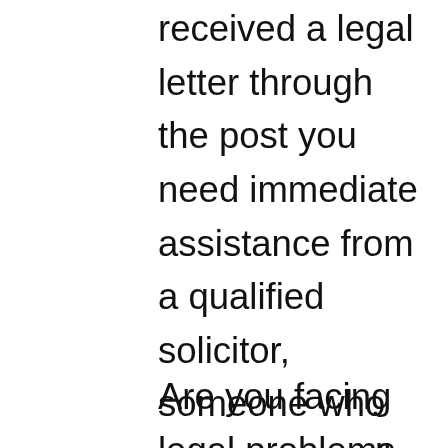received a legal letter through the post you need immediate assistance from a qualified solicitor, someone who can answer all your questions quickly over the phone without needing to go to the solicitor's office or even book an appointment.
Are you facing legal problems with your employer, been made